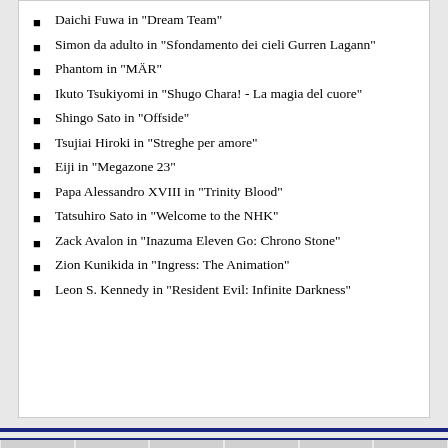Daichi Fuwa in "Dream Team"
Simon da adulto in "Sfondamento dei cieli Gurren Lagann"
Phantom in "MÄR"
Ikuto Tsukiyomi in "Shugo Chara! - La magia del cuore"
Shingo Sato in "Offside"
Tsujiai Hiroki in "Streghe per amore"
Eiji in "Megazone 23"
Papa Alessandro XVIII in "Trinity Blood"
Tatsuhiro Sato in "Welcome to the NHK"
Zack Avalon in "Inazuma Eleven Go: Chrono Stone"
Zion Kunikida in "Ingress: The Animation"
Leon S. Kennedy in "Resident Evil: Infinite Darkness"